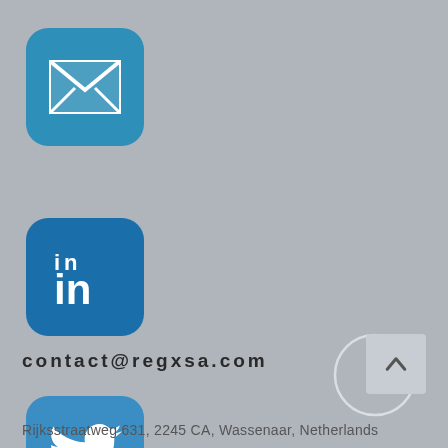[Figure (logo): Email icon: blue rounded square with white envelope/letter icon]
[Figure (logo): LinkedIn icon: dark blue rounded square with white 'in' logo]
[Figure (logo): Twitter icon: medium blue rounded square with white Twitter bird logo]
[Figure (other): Circular watermark/loading indicator with small circle in center]
contact@regxsa.com
[Figure (other): Scroll-to-top button: light grey square with upward chevron/caret]
Rijksstraatweg 631, 2245 CA, Wassenaar, Netherlands